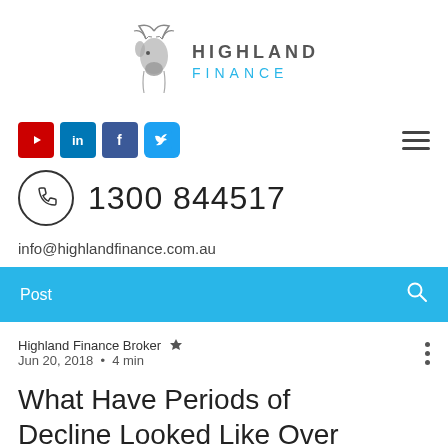[Figure (logo): Highland Finance logo with stag illustration and text 'HIGHLAND FINANCE']
[Figure (infographic): Social media icons: YouTube, LinkedIn, Facebook, Twitter, and hamburger menu]
1300 844517
info@highlandfinance.com.au
Post
Highland Finance Broker  Jun 20, 2018  •  4 min
What Have Periods of Decline Looked Like Over